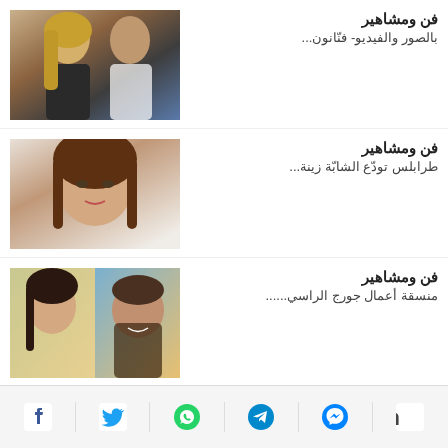فن ومشاهير
بالصور والفيديو- فنّانون...
[Figure (photo): Two people posing together, one with blonde hair]
فن ومشاهير
طرابلس تودّع الشابّة زينة...
[Figure (photo): Young woman with brown hair, close-up portrait]
فن ومشاهير
منسقة أعمال جورج الراسي......
[Figure (photo): Two people, a woman and a man smiling]
فن ومشاهير
[Figure (photo): Partial image visible at bottom of page]